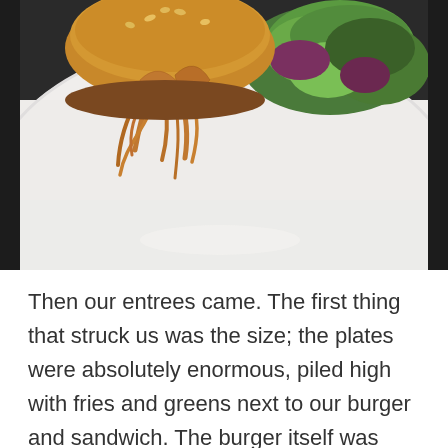[Figure (photo): Close-up photo of a plate with a burger topped with crispy fried onion straws on a white plate, accompanied by a fresh green salad with mixed greens on the right side. The image is cropped showing mainly the top half of the plate.]
Then our entrees came. The first thing that struck us was the size; the plates were absolutely enormous, piled high with fries and greens next to our burger and sandwich. The burger itself was gargantuan